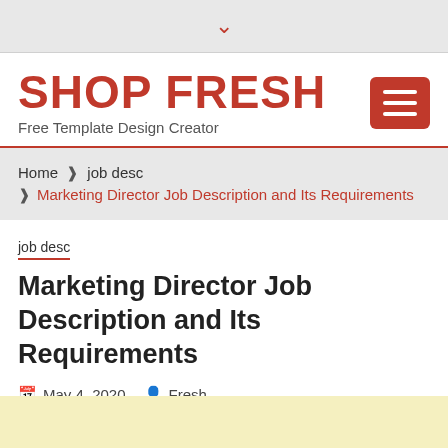▾
SHOP FRESH
Free Template Design Creator
Home ❯ job desc ❯ Marketing Director Job Description and Its Requirements
job desc
Marketing Director Job Description and Its Requirements
May 4, 2020  Fresh